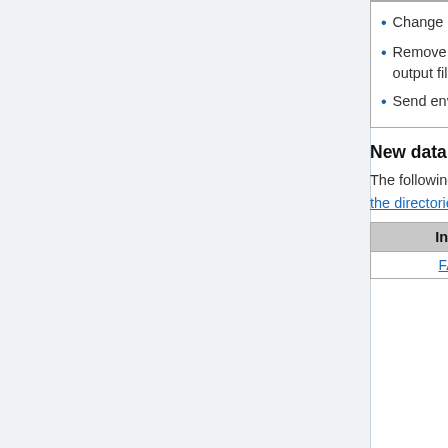|  |  |  |
| --- | --- | --- |
| • Change run-time core side length error to warning
• Remove output file runConfig.log; send to gchp.log instead
• Send environment information to gchp.log |  |  |
New data directories in 12.3.2
The following data directories have been added or updated in this version. You will have to download the directories relevant to your simulation.
| Inventory | Type | What was a... |
| --- | --- | --- |
| FAST_JX | DEFAULT | The FJX... |